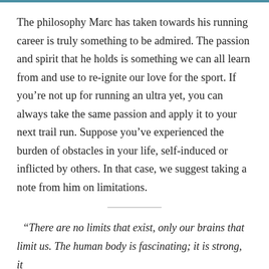The philosophy Marc has taken towards his running career is truly something to be admired. The passion and spirit that he holds is something we can all learn from and use to re-ignite our love for the sport. If you're not up for running an ultra yet, you can always take the same passion and apply it to your next trail run. Suppose you've experienced the burden of obstacles in your life, self-induced or inflicted by others. In that case, we suggest taking a note from him on limitations.
“There are no limits that exist, only our brains that limit us. The human body is fascinating; it is strong, it